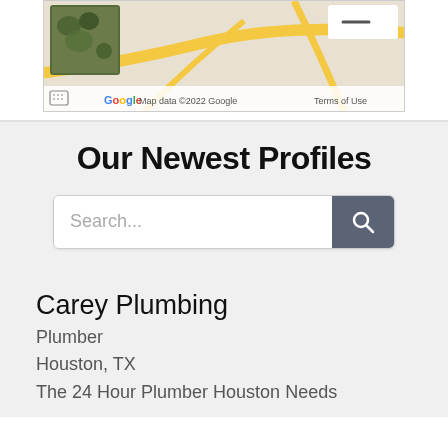[Figure (screenshot): Partial Google Maps view showing roads and satellite image thumbnail, with 'Map data ©2022 Google' and 'Terms of Use' attribution]
Our Newest Profiles
[Figure (screenshot): Search bar with placeholder text 'Search...' and a dark search button with magnifying glass icon]
Carey Plumbing
Plumber
Houston, TX
The 24 Hour Plumber Houston Needs